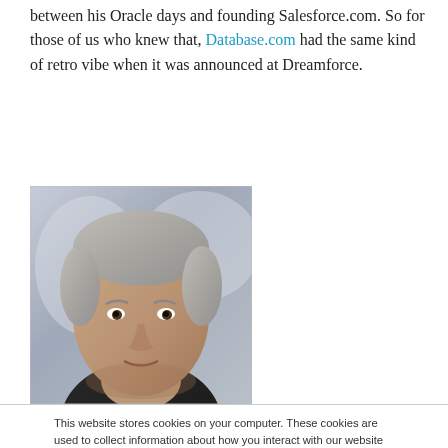between his Oracle days and founding Salesforce.com. So for those of us who knew that, Database.com had the same kind of retro vibe when it was announced at Dreamforce.
[Figure (photo): Close-up photo of a middle-aged man with gray hair against a blurred light background.]
This website stores cookies on your computer. These cookies are used to collect information about how you interact with our website and allow us to remember you. We use this information in order to improve and customize your browsing experience and for analytics and metrics about our visitors both on this website and other media. To find out more about the cookies we use, see our Privacy Policy. California residents have the right to direct us not to sell their personal information to third parties by filing an Opt-Out Request: Do Not Sell My Personal Info.
Accept